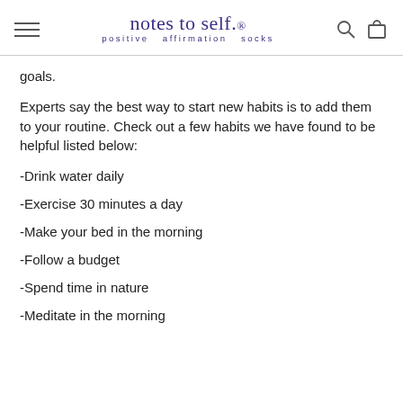notes to self. positive affirmation socks
goals.
Experts say the best way to start new habits is to add them to your routine. Check out a few habits we have found to be helpful listed below:
-Drink water daily
-Exercise 30 minutes a day
-Make your bed in the morning
-Follow a budget
-Spend time in nature
-Meditate in the morning